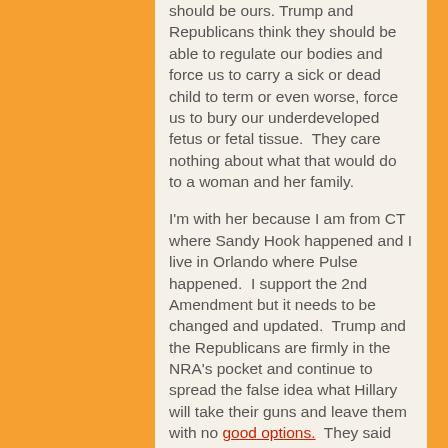should be ours.  Trump and Republicans think they should be able to regulate our bodies and force us to carry a sick or dead child to term or even worse, force us to bury our underdeveloped fetus or fetal tissue.  They care nothing about what that would do to a woman and her family.
I'm with her because I am from CT where Sandy Hook happened and I live in Orlando where Pulse happened.  I support the 2nd Amendment but it needs to be changed and updated.  Trump and the Republicans are firmly in the NRA's pocket and continue to spread the false idea what Hillary will take their guns and leave them with no good options.  They said the same about Obama.  Guess what?  They all still have their guns.
I could probably go on all day but I will end with the 2 most important reasons I'm with her…L and A.  I want them to grow up knowing they can do and be anything.  I...